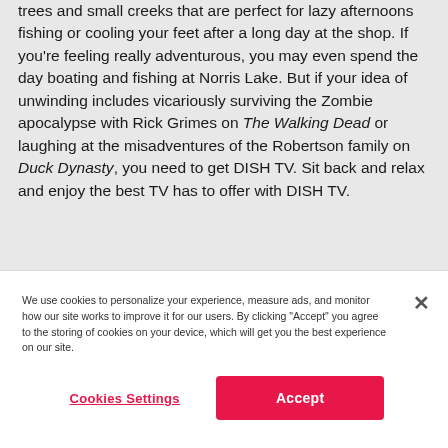trees and small creeks that are perfect for lazy afternoons fishing or cooling your feet after a long day at the shop. If you're feeling really adventurous, you may even spend the day boating and fishing at Norris Lake. But if your idea of unwinding includes vicariously surviving the Zombie apocalypse with Rick Grimes on The Walking Dead or laughing at the misadventures of the Robertson family on Duck Dynasty, you need to get DISH TV. Sit back and relax and enjoy the best TV has to offer with DISH TV.
We use cookies to personalize your experience, measure ads, and monitor how our site works to improve it for our users. By clicking "Accept" you agree to the storing of cookies on your device, which will get you the best experience on our site.
Cookies Settings
Accept